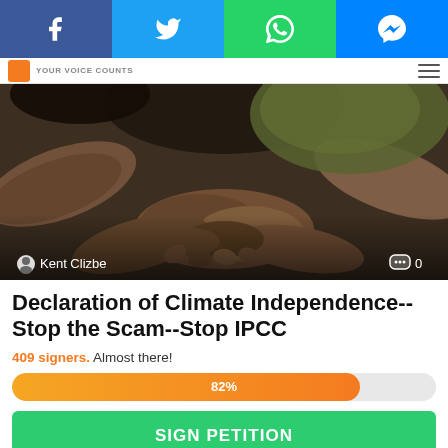Social share bar: Facebook, Twitter, WhatsApp, Messenger
YOUR VOICE COUNTS
[Figure (photo): Photograph of multiple people's hands joined together in a circle, viewed from above, with warm brown and green tones. Overlay shows author name 'Kent Clizbe' and comment count '0'.]
Declaration of Climate Independence--Stop the Scam--Stop IPCC
409 signers. Almost there!
82%
SIGN PETITION